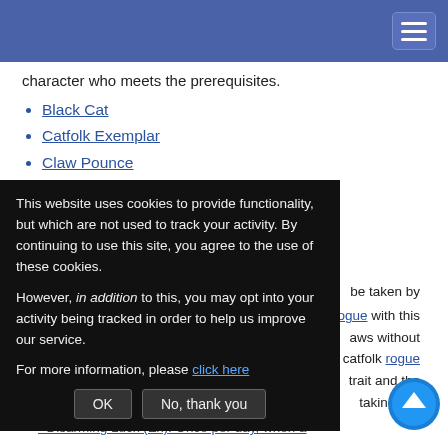character who meets the prerequisites.
Black Cat
Catfolk Exemplar
Claw Pounce
Feline Grace
Nimble Striker
Catfolk Rogue Talents
be taken by
rogue with this jaws without catfolk rogue trait and the taking this
Disarming Luck (Ex): Once per day, when a
This website uses cookies to provide functionality, but which are not used to track your activity. By continuing to use this site, you agree to the use of these cookies.

However, in addition to this, you may opt into your activity being tracked in order to help us improve our service.

For more information, please click here
OK   No, thank you